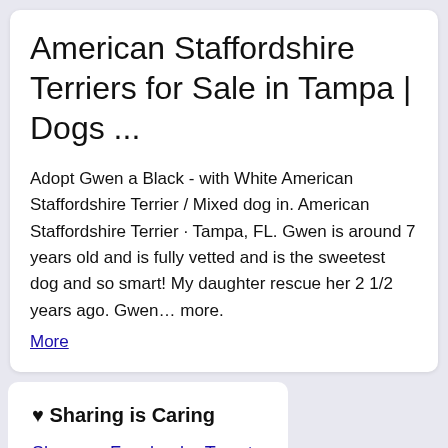American Staffordshire Terriers for Sale in Tampa | Dogs ...
Adopt Gwen a Black - with White American Staffordshire Terrier / Mixed dog in. American Staffordshire Terrier · Tampa, FL. Gwen is around 7 years old and is fully vetted and is the sweetest dog and so smart! My daughter rescue her 2 1/2 years ago. Gwen… more.
More
♥ Sharing is Caring
Share on Facebook - Tweet - Reddit
Popular Today